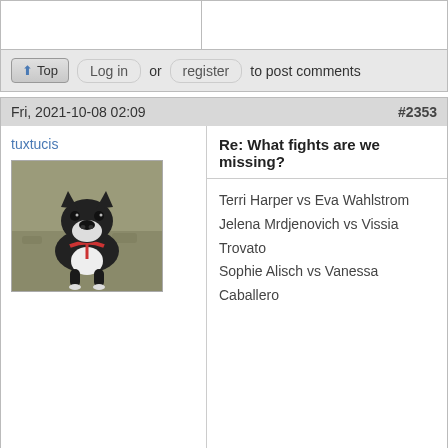Log in or register to post comments
Fri, 2021-10-08 02:09  #2353
tuxtucis
[Figure (photo): Profile photo of a black and white French bulldog puppy outdoors]
Re: What fights are we missing?
Terri Harper vs Eva Wahlstrom
Jelena Mrdjenovich vs Vissia Trovato
Sophie Alisch vs Vanessa Caballero
Log in or register to post comments
Fri, 2021-10-08 04:52 (Reply to #2353)  #2354
Champion97
Re: What fights are we